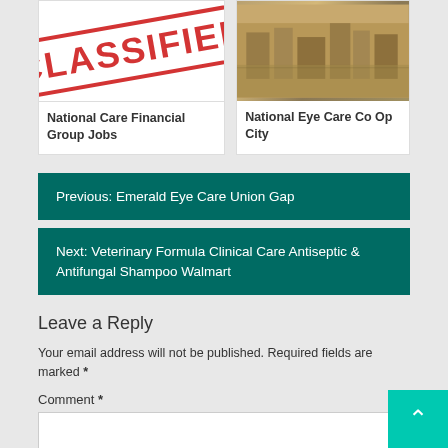[Figure (photo): Image card with CLASSIFIED stamp text in red on white background]
National Care Financial Group Jobs
[Figure (photo): Aerial city view image in brown/sepia tones]
National Eye Care Co Op City
Previous: Emerald Eye Care Union Gap
Next: Veterinary Formula Clinical Care Antiseptic & Antifungal Shampoo Walmart
Leave a Reply
Your email address will not be published. Required fields are marked *
Comment *